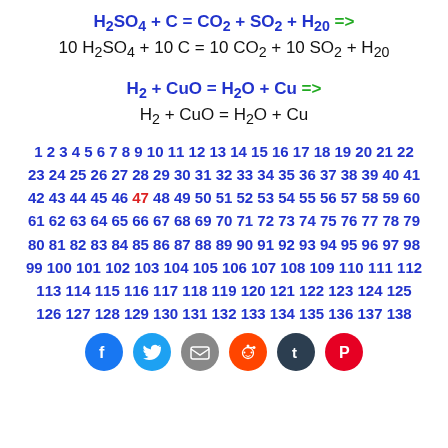1 2 3 4 5 6 7 8 9 10 11 12 13 14 15 16 17 18 19 20 21 22 23 24 25 26 27 28 29 30 31 32 33 34 35 36 37 38 39 40 41 42 43 44 45 46 47 48 49 50 51 52 53 54 55 56 57 58 59 60 61 62 63 64 65 66 67 68 69 70 71 72 73 74 75 76 77 78 79 80 81 82 83 84 85 86 87 88 89 90 91 92 93 94 95 96 97 98 99 100 101 102 103 104 105 106 107 108 109 110 111 112 113 114 115 116 117 118 119 120 121 122 123 124 125 126 127 128 129 130 131 132 133 134 135 136 137 138
[Figure (infographic): Social media share icons: Facebook, Twitter, Email, Reddit, Tumblr, Pinterest]